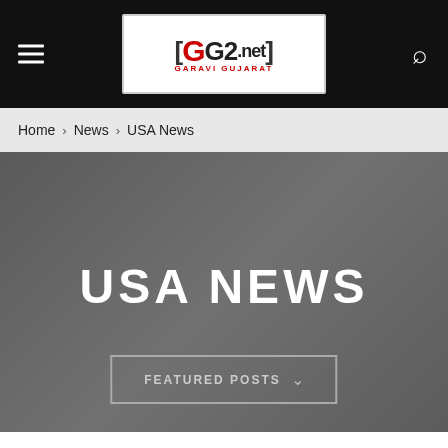GG2.net GARAVI GUJARAT [navigation bar with logo, hamburger menu, and search icon]
Home › News › USA News
USA NEWS
FEATURED POSTS ∨